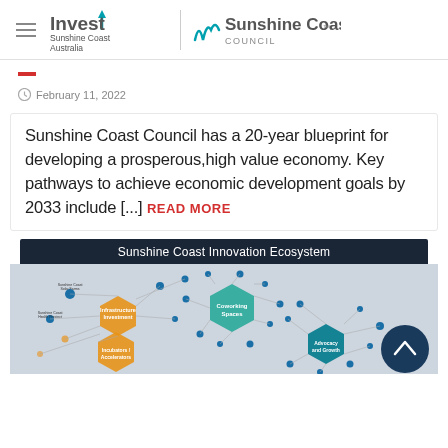Invest Sunshine Coast Australia | Sunshine Coast Council
February 11, 2022
Sunshine Coast Council has a 20-year blueprint for developing a prosperous,high value economy. Key pathways to achieve economic development goals by 2033 include [...] READ MORE
[Figure (infographic): Sunshine Coast Innovation Ecosystem network diagram showing interconnected nodes including Infrastructure Investment, Coworking Spaces, Incubators/Accelerators, Advocacy and Growth hubs with many satellite entities connected by lines]